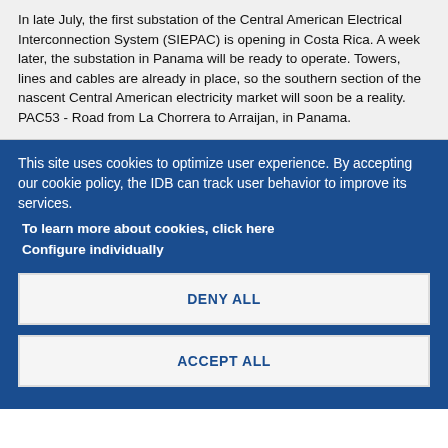In late July, the first substation of the Central American Electrical Interconnection System (SIEPAC) is opening in Costa Rica. A week later, the substation in Panama will be ready to operate. Towers, lines and cables are already in place, so the southern section of the nascent Central American electricity market will soon be a reality. PAC53 - Road from La Chorrera to Arraijan, in Panama.
This site uses cookies to optimize user experience. By accepting our cookie policy, the IDB can track user behavior to improve its services.
To learn more about cookies, click here
Configure individually
DENY ALL
ACCEPT ALL